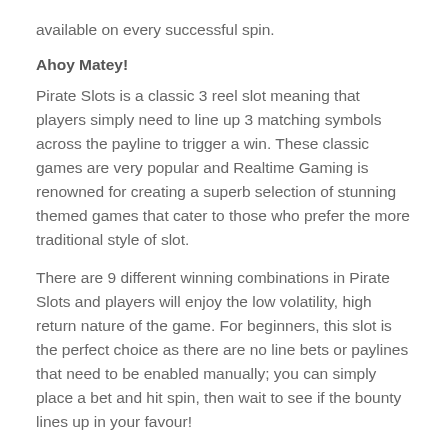available on every successful spin.
Ahoy Matey!
Pirate Slots is a classic 3 reel slot meaning that players simply need to line up 3 matching symbols across the payline to trigger a win. These classic games are very popular and Realtime Gaming is renowned for creating a superb selection of stunning themed games that cater to those who prefer the more traditional style of slot.
There are 9 different winning combinations in Pirate Slots and players will enjoy the low volatility, high return nature of the game. For beginners, this slot is the perfect choice as there are no line bets or paylines that need to be enabled manually; you can simply place a bet and hit spin, then wait to see if the bounty lines up in your favour!
Straightforward and simple slots fun